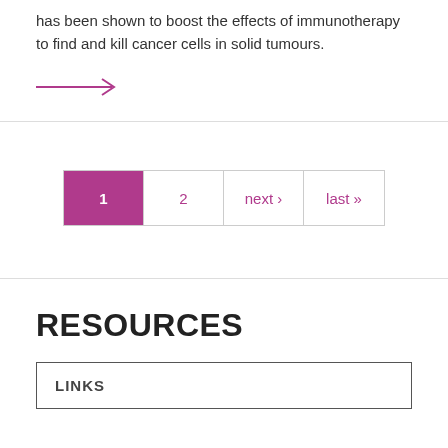has been shown to boost the effects of immunotherapy to find and kill cancer cells in solid tumours.
[Figure (other): Pink/magenta right-pointing arrow link]
RESOURCES
LINKS